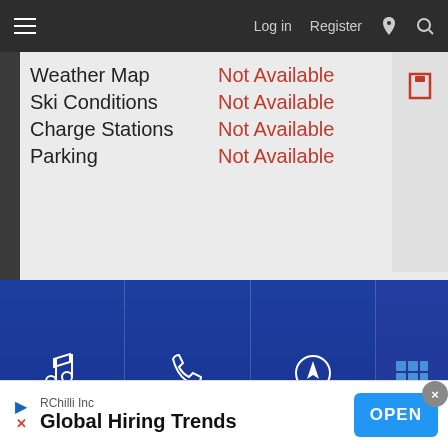Log in   Register
[Figure (screenshot): Car infotainment system screen showing: Weather Map - Not Available, Ski Conditions - Not Available, Charge Stations - Not Available, Parking - Not Available. Bottom navigation bar with Audio, Phone, Nav, Apps icons on blue background. Below: car dashboard with PASSENGER AIRBAG OFF indicator in amber text.]
[Figure (screenshot): Advertisement banner: RChilli Inc - Global Hiring Trends with OPEN button in blue. Infolinks badge visible. Close X button in top right corner.]